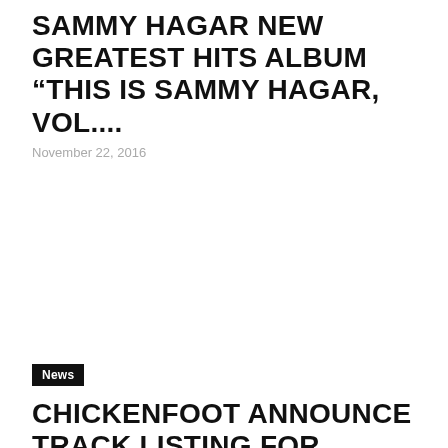SAMMY HAGAR NEW GREATEST HITS ALBUM “THIS IS SAMMY HAGAR, VOL....
November 22, 2016
News
CHICKENFOOT ANNOUNCE TRACK LISTING FOR “CHICKENFOOT III”
July 13, 2011
STAY CONNECTED